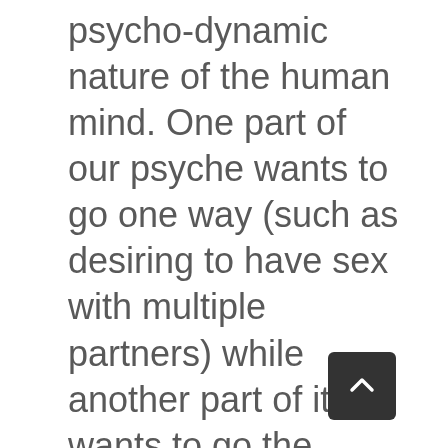psycho-dynamic nature of the human mind. One part of our psyche wants to go one way (such as desiring to have sex with multiple partners) while another part of it wants to go the other way (be a good husband or wife and accord to the cultural norm of monogamy). Who can honestly say they have never even thought about such things? And if the thought is unwelcome and sits uncomfortably with the rest of you, then of course it will fight for survival in much the same way that any life form would when it is threatened with extinction. This is why Freud's description